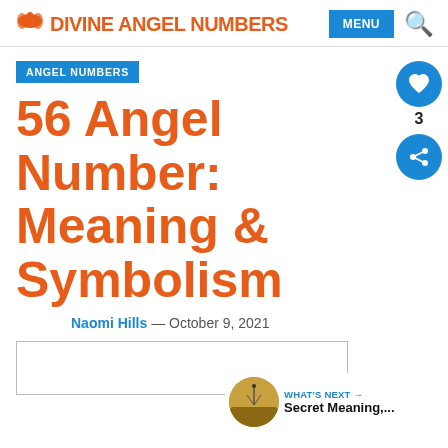DIVINE ANGEL NUMBERS | MENU
ANGEL NUMBERS
56 Angel Number: Meaning & Symbolism
Naomi Hills — October 9, 2021
[Figure (other): Thumbnail image placeholder rectangle at bottom left]
[Figure (other): What's Next sidebar with thumbnail image of a silhouette and landscape labeled Secret Meaning,...]